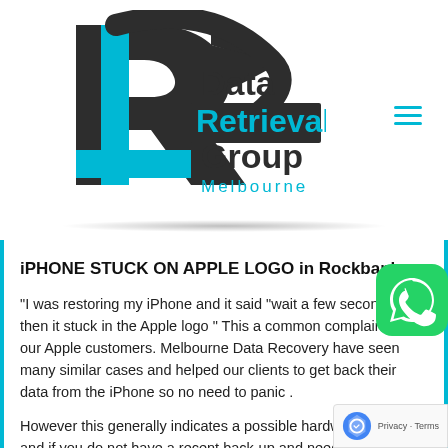[Figure (logo): Data Retrieval Group Melbourne logo with stylized R arrow icon in dark and cyan colors]
iPHONE STUCK ON APPLE LOGO in Rockbank
“I was restoring my iPhone and it said “wait a few seconds” then it stuck in the Apple logo ” This a common complaint from our Apple customers. Melbourne Data Recovery have seen many similar cases and helped our clients to get back their data from the iPhone so no need to panic .
However this generally indicates a possible hardware failure and if you do not have a recent back-up and need the data stored on the iPhone then contact us in